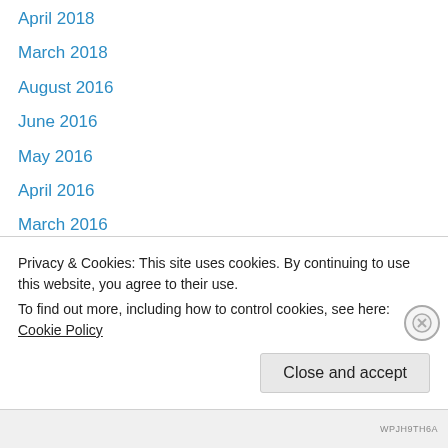April 2018
March 2018
August 2016
June 2016
May 2016
April 2016
March 2016
February 2016
January 2016
December 2015
November 2015
October 2015
September 2015
Privacy & Cookies: This site uses cookies. By continuing to use this website, you agree to their use.
To find out more, including how to control cookies, see here: Cookie Policy
WPJH9TH6A